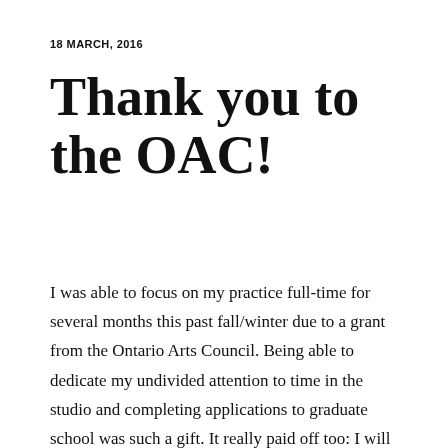18 MARCH, 2016
Thank you to the OAC!
I was able to focus on my practice full-time for several months this past fall/winter due to a grant from the Ontario Arts Council. Being able to dedicate my undivided attention to time in the studio and completing applications to graduate school was such a gift. It really paid off too: I will be starting graduate school at Virginia Commonwealth University this August! Adventure time!